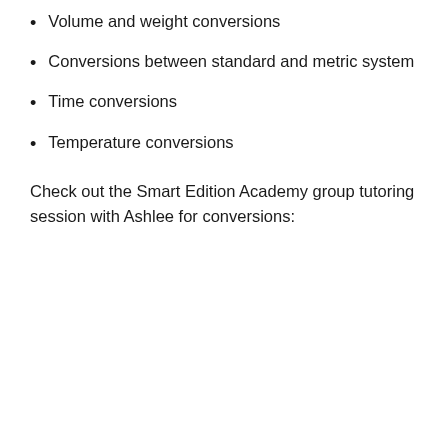Volume and weight conversions
Conversions between standard and metric system
Time conversions
Temperature conversions
Check out the Smart Edition Academy group tutoring session with Ashlee for conversions: